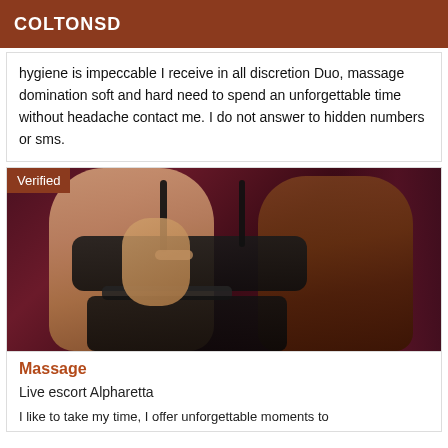COLTONSD
hygiene is impeccable I receive in all discretion Duo, massage domination soft and hard need to spend an unforgettable time without headache contact me. I do not answer to hidden numbers or sms.
[Figure (photo): Two figures in close proximity, one with lighter skin tone and one with darker skin tone, both wearing dark clothing against a dark maroon/purple background. A 'Verified' badge appears in the top-left corner.]
Massage
Live escort Alpharetta
I like to take my time, I offer unforgettable moments to